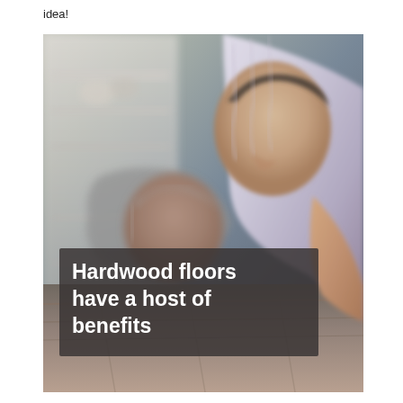idea!
[Figure (photo): Two men bending down, appearing to work on or install hardwood floors. The image is blurred/out of focus with warm tones. An overlaid semi-transparent dark text box reads 'Hardwood floors have a host of benefits'.]
Hardwood floors have a host of benefits